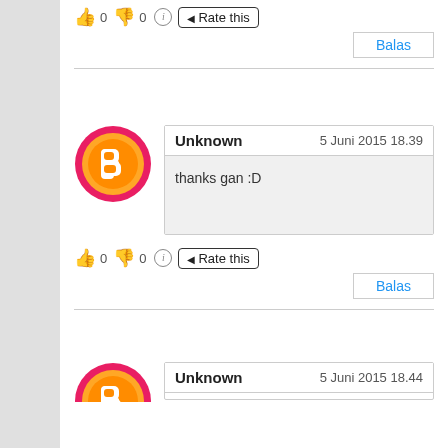[Figure (infographic): Rating row with thumbs up (0), thumbs down (0), info icon, Rate this button]
Balas
[Figure (photo): Blogger orange avatar icon with pink border]
Unknown   5 Juni 2015 18.39
thanks gan :D
[Figure (infographic): Rating row with thumbs up (0), thumbs down (0), info icon, Rate this button]
Balas
[Figure (photo): Blogger orange avatar icon with pink border, partially visible]
Unknown   5 Juni 2015 18.44